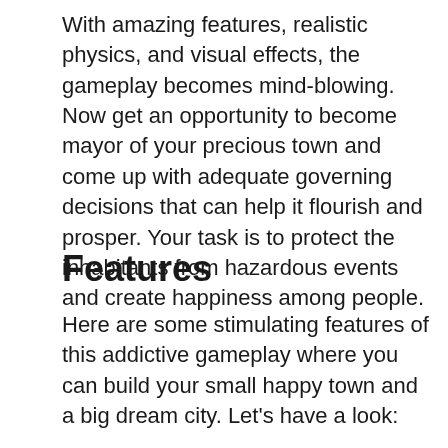With amazing features, realistic physics, and visual effects, the gameplay becomes mind-blowing. Now get an opportunity to become mayor of your precious town and come up with adequate governing decisions that can help it flourish and prosper. Your task is to protect the inhabitants from hazardous events and create happiness among people.
Features
Here are some stimulating features of this addictive gameplay where you can build your small happy town and a big dream city. Let's have a look:
Construction Of Amusement: The